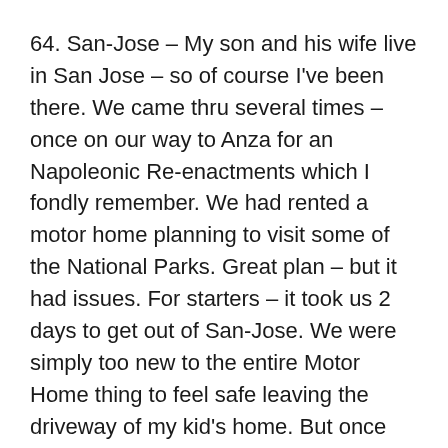64. San-Jose – My son and his wife live in San Jose – so of course I've been there. We came thru several times – once on our way to Anza for an Napoleonic Re-enactments which I fondly remember. We had rented a motor home planning to visit some of the National Parks. Great plan – but it had issues. For starters – it took us 2 days to get out of San-Jose. We were simply too new to the entire Motor Home thing to feel safe leaving the driveway of my kid's home. But once we got on the road – it was better. Truly scary thing – driving the highway from San-Jose to Los Angeles. Cross winds and a motor home are not fun!
63. Buenos-Aires – Been there. One of our good friend's was in the middle of a rather nasty divorce and they hadn't told the kids yet. And his son was getting married in